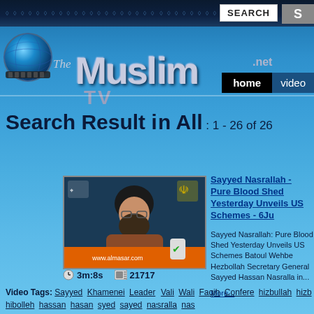[Figure (screenshot): TheMuslim.net TV website header with globe logo, silver Muslim text logo, navigation bar with home and video links, and search box]
Search Result in All : 1 - 26 of 26
[Figure (photo): Video thumbnail showing a man in black turban and brown robe speaking, Hezbollah imagery visible]
Sayyed Nasrallah - Pure Blood Shed Yesterday Unveils US Schemes - 6Ju
Sayyed Nasrallah: Pure Blood Shed Yesterday Unveils US Schemes Batoul Wehbe Hezbollah Secretary General Sayyed Hassan Nasralla in... More...
3m:8s  21717
Video Tags: Sayyed Khamenei Leader Vali Wali Faqih Confere hizbullah hizb hibolleh hassan hasan syed sayed nasralla nas Yesterday Unveils US Schemes